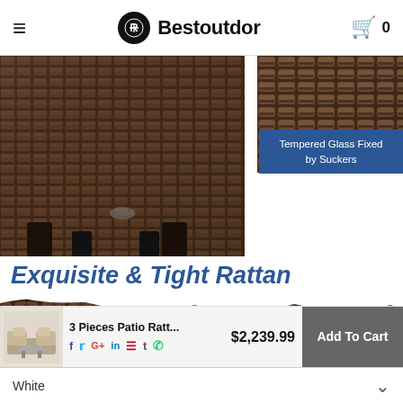Bestoutdor — Cart: 0
[Figure (photo): Close-up of brown wicker rattan furniture leg/base and a close-up of rattan weave detail with blue label 'Tempered Glass Fixed by Suckers']
Exquisite & Tight Rattan
[Figure (photo): Close-up panoramic photo of tight brown rattan weave pattern]
3 Pieces Patio Ratt...  $2,239.99  Add To Cart
White